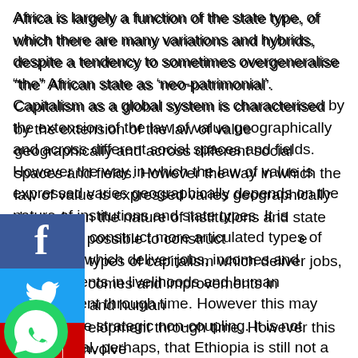Africa is largely a function of the state type, of which there are many variations and hybrids, despite a tendency to sometimes overgeneralise “the” African state as ‘neo-patrimonial’. Capitalism as a global system is characterised by the extension of the law of value geographically and across different social spaces and fields. However the way in which the law of value is expressed varies geographically depends on the nature of institutions and state types. It is possible to construct more articulated types of capitalism which deliver jobs, incomes and improvements in livelihoods and human development through time. However this may also involve strategic non-coupling. It is not coincidental, perhaps, that Ethiopia is still not a member of the World Trade Organization, which allows it to engage in more strategic and industrial policy innovation. Is Ethiopia then a “developmental state”?
[Figure (other): Social media share buttons: Facebook (blue), Twitter (light blue), YouTube (red), WhatsApp (green circle)]